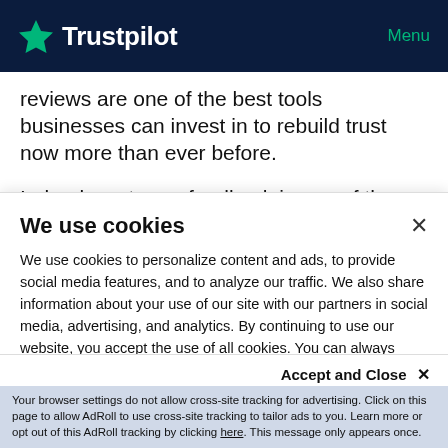Trustpilot   Menu
reviews are one of the best tools businesses can invest in to rebuild trust now more than ever before.
Indeed, customer feedback is one of the most impactful ways to help build any company's online reputation
We use cookies
We use cookies to personalize content and ads, to provide social media features, and to analyze our traffic. We also share information about your use of our site with our partners in social media, advertising, and analytics. By continuing to use our website, you accept the use of all cookies. You can always access and change your cookie preferences in the footer of this website.
Accept and Close ×
Your browser settings do not allow cross-site tracking for advertising. Click on this page to allow AdRoll to use cross-site tracking to tailor ads to you. Learn more or opt out of this AdRoll tracking by clicking here. This message only appears once.